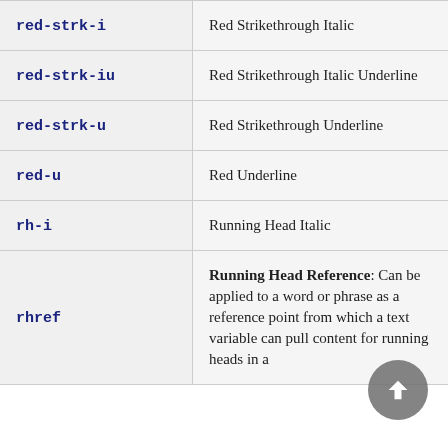| Code | Description |
| --- | --- |
| red-strk-i | Red Strikethrough Italic |
| red-strk-iu | Red Strikethrough Italic Underline |
| red-strk-u | Red Strikethrough Underline |
| red-u | Red Underline |
| rh-i | Running Head Italic |
| rhref | Running Head Reference: Can be applied to a word or phrase as a reference point from which a text variable can pull content for running heads in a |